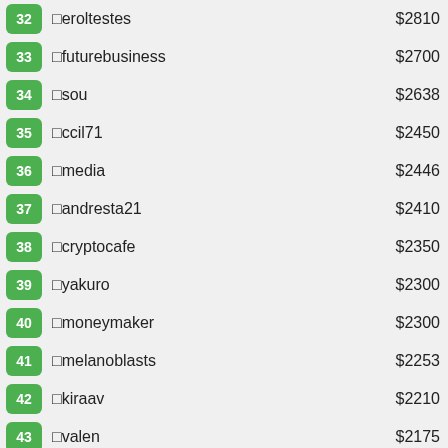32 □eroltestes $2810
33 □futurebusiness $2700
34 □sou $2638
35 □ccil71 $2450
36 □media $2446
37 □andresta21 $2410
38 □cryptocafe $2350
39 □yakuro $2300
40 □moneymaker $2300
41 □melanoblasts $2253
42 □kiraav $2210
43 □valen $2175
44 □mra1985 $2170
45 □craftyk $2163
46 □nth3014 $2130
47 □murlokot $2100
48 □levo143 $2080
49 □hyipya $2060
50 □nguyenthanhphong $2006